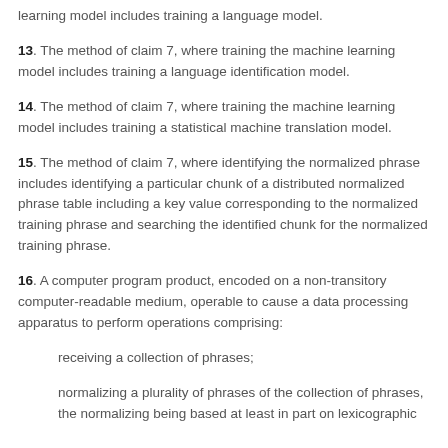learning model includes training a language model.
13. The method of claim 7, where training the machine learning model includes training a language identification model.
14. The method of claim 7, where training the machine learning model includes training a statistical machine translation model.
15. The method of claim 7, where identifying the normalized phrase includes identifying a particular chunk of a distributed normalized phrase table including a key value corresponding to the normalized training phrase and searching the identified chunk for the normalized training phrase.
16. A computer program product, encoded on a non-transitory computer-readable medium, operable to cause a data processing apparatus to perform operations comprising:
receiving a collection of phrases;
normalizing a plurality of phrases of the collection of phrases, the normalizing being based at least in part on lexicographic